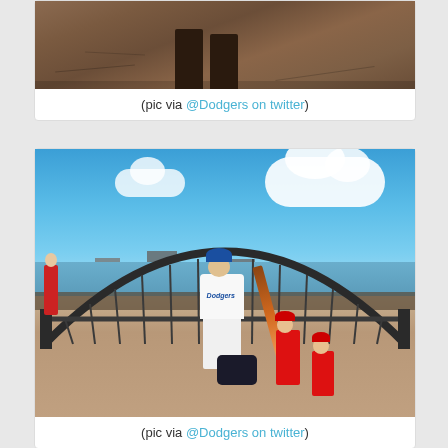[Figure (photo): Cropped photo showing feet/boots on a concrete ground, partially visible at the top of a blog post card]
(pic via @Dodgers on twitter)
[Figure (photo): Photo of a Dodgers player and children in red baseball uniforms posing near the Sydney Harbour Bridge in Australia, with the iconic steel arch bridge, blue sky with clouds, and harbor water visible in the background]
(pic via @Dodgers on twitter)